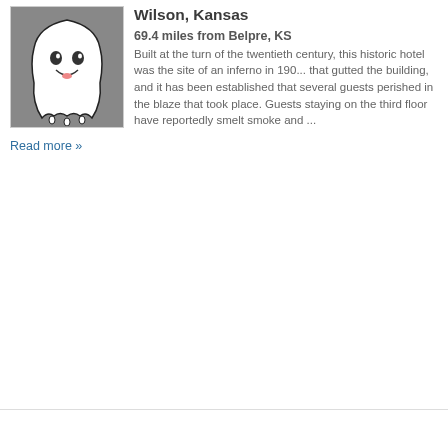[Figure (illustration): Ghost mascot illustration — a cartoonish white ghost shape on a grey background with a smiling face, outlined in black]
Wilson, Kansas
69.4 miles from Belpre, KS
Built at the turn of the twentieth century, this historic hotel was the site of an inferno in 190... that gutted the building, and it has been established that several guests perished in the blaze that took place. Guests staying on the third floor have reportedly smelt smoke and ...
Read more »